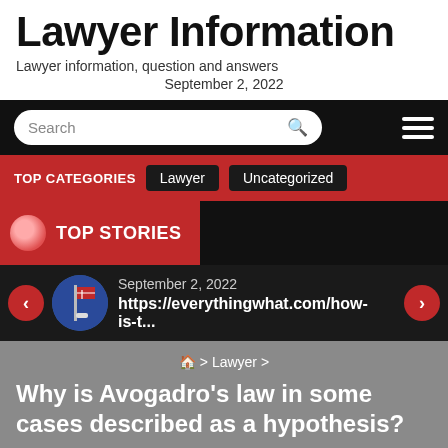Lawyer Information
Lawyer information, question and answers
September 2, 2022
[Figure (screenshot): Website navigation bar with search box and hamburger menu on black background]
[Figure (screenshot): Red category bar showing TOP CATEGORIES with Lawyer and Uncategorized buttons]
[Figure (screenshot): TOP STORIES section on black background with red circle icon]
[Figure (screenshot): Story slider with left/right red arrow buttons, flag thumbnail, date September 2 2022, and URL https://everythingwhat.com/how-is-t...]
🏠 > Lawyer >
Why is Avogadro's law in some cases described as a hypothesis?